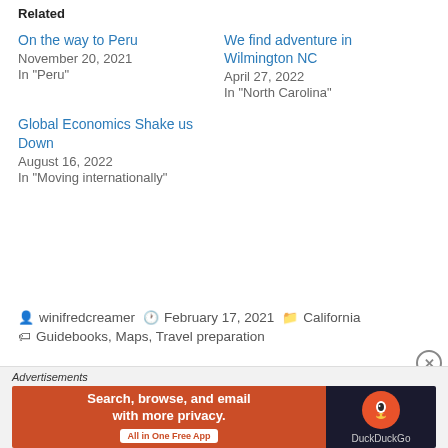Related
On the way to Peru
November 20, 2021
In "Peru"
We find adventure in Wilmington NC
April 27, 2022
In "North Carolina"
Global Economics Shake us Down
August 16, 2022
In "Moving internationally"
winifredcreamer   February 17, 2021   California
Guidebooks, Maps, Travel preparation
[Figure (screenshot): DuckDuckGo advertisement banner: orange left panel with text 'Search, browse, and email with more privacy. All in One Free App' and dark right panel with DuckDuckGo duck logo]